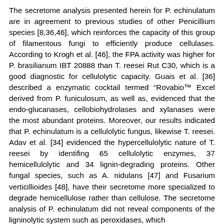The secretome analysis presented herein for P. echinulatum are in agreement to previous studies of other Penicillium species [8,36,46], which reinforces the capacity of this group of filamentous fungi to efficiently produce cellulases. According to Krogh et al. [46], the FPA activity was higher for P. brasilianum IBT 20888 than T. reesei Rut C30, which is a good diagnostic for cellulolytic capacity. Guais et al. [36] described a enzymatic cocktail termed "Rovabio™ Excel derived from P. funiculosum, as well as, evidenced that the endo-glucanases, cellobiohydrolases and xylanases were the most abundant proteins. Moreover, our results indicated that P. echinulatum is a cellulolytic fungus, likewise T. reesei. Adav et al. [34] evidenced the hypercellulolytic nature of T. reesei by identifing 65 cellulolytic enzymes, 37 hemicellulolytic and 34 lignin-degrading proteins. Other fungal species, such as A. nidulans [47] and Fusarium verticillioides [48], have their secretome more specialized to degrade hemicellulose rather than cellulose. The secretome analysis of P. echinulatum did not reveal components of the ligninolytic system such as peroxidases, which